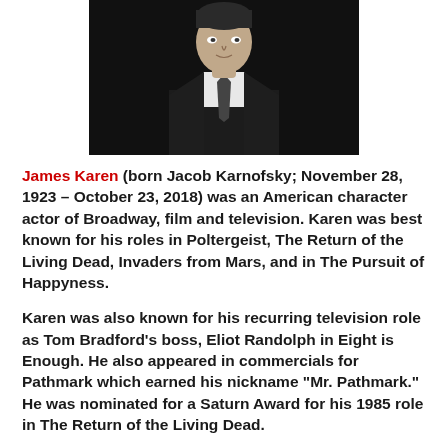[Figure (photo): Black and white portrait photograph of James Karen, a man in a suit and tie, cropped from shoulders up, against a dark background.]
James Karen (born Jacob Karnofsky; November 28, 1923 – October 23, 2018) was an American character actor of Broadway, film and television. Karen was best known for his roles in Poltergeist, The Return of the Living Dead, Invaders from Mars, and in The Pursuit of Happyness.

Karen was also known for his recurring television role as Tom Bradford's boss, Eliot Randolph in Eight is Enough. He also appeared in commercials for Pathmark which earned his nickname "Mr. Pathmark." He was nominated for a Saturn Award for his 1985 role in The Return of the Living Dead.

He was married to Susan Reed, the former actress and folk singer. They divorced in 1967 and in 1986, he married Alba Francesca. Karen had one son Reed. Their